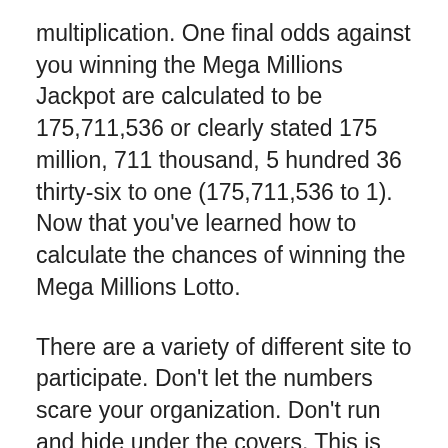multiplication. One final odds against you winning the Mega Millions Jackpot are calculated to be 175,711,536 or clearly stated 175 million, 711 thousand, 5 hundred 36 thirty-six to one (175,711,536 to 1). Now that you've learned how to calculate the chances of winning the Mega Millions Lotto.
There are a variety of different site to participate. Don't let the numbers scare your organization. Don't run and hide under the covers. This is your time employ this as a great chance you figure out upon the web page that will end up a person and start your joys of as being a winner along with earner at the same time. Unfortunately, there lots of different sites that are around for you purchase and select from. You may be